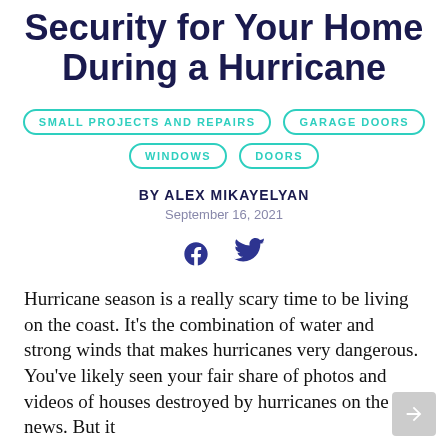Security for Your Home During a Hurricane
SMALL PROJECTS AND REPAIRS
GARAGE DOORS
WINDOWS
DOORS
BY ALEX MIKAYELYAN
September 16, 2021
[Figure (illustration): Facebook and Twitter social share icons in dark blue]
Hurricane season is a really scary time to be living on the coast. It’s the combination of water and strong winds that makes hurricanes very dangerous. You’ve likely seen your fair share of photos and videos of houses destroyed by hurricanes on the news. But it